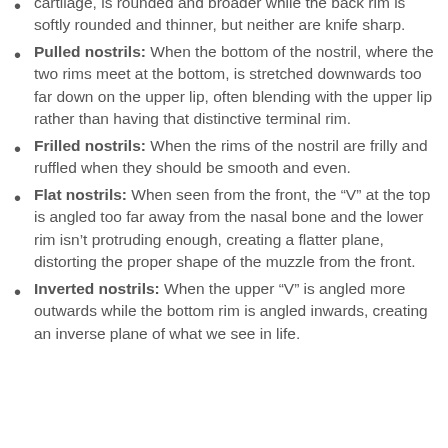cartilage, is rounded and broader while the back rim is softly rounded and thinner, but neither are knife sharp.
Pulled nostrils: When the bottom of the nostril, where the two rims meet at the bottom, is stretched downwards too far down on the upper lip, often blending with the upper lip rather than having that distinctive terminal rim.
Frilled nostrils: When the rims of the nostril are frilly and ruffled when they should be smooth and even.
Flat nostrils: When seen from the front, the “V” at the top is angled too far away from the nasal bone and the lower rim isn’t protruding enough, creating a flatter plane, distorting the proper shape of the muzzle from the front.
Inverted nostrils: When the upper “V” is angled more outwards while the bottom rim is angled inwards, creating an inverse plane of what we see in life.